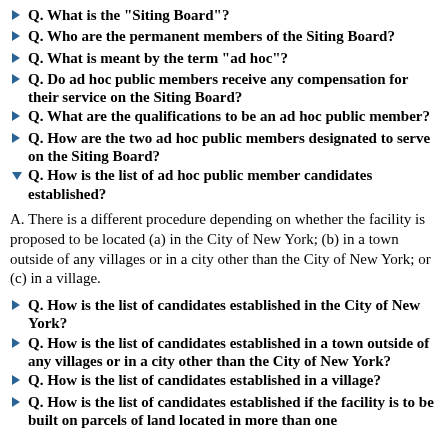Q. What is the "Siting Board"?
Q. Who are the permanent members of the Siting Board?
Q. What is meant by the term "ad hoc"?
Q. Do ad hoc public members receive any compensation for their service on the Siting Board?
Q. What are the qualifications to be an ad hoc public member?
Q. How are the two ad hoc public members designated to serve on the Siting Board?
Q. How is the list of ad hoc public member candidates established?
A. There is a different procedure depending on whether the facility is proposed to be located (a) in the City of New York; (b) in a town outside of any villages or in a city other than the City of New York; or (c) in a village.
Q. How is the list of candidates established in the City of New York?
Q. How is the list of candidates established in a town outside of any villages or in a city other than the City of New York?
Q. How is the list of candidates established in a village?
Q. How is the list of candidates established if the facility is to be built on parcels of land located in more than one